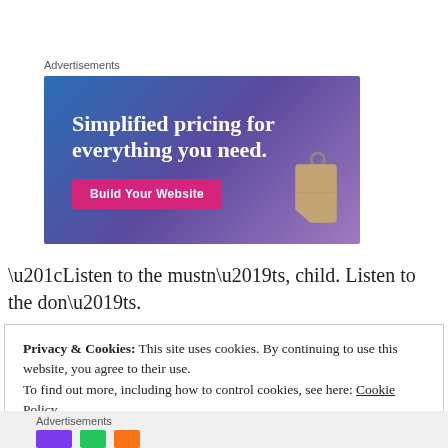Advertisements
[Figure (illustration): Advertisement banner with blue-to-purple gradient background. Text reads 'Simplified pricing for everything you need.' with a pink 'Build Your Website' button and a decorative price tag image on the right.]
“Listen to the mustn’ts, child. Listen to the don’ts.
Privacy & Cookies: This site uses cookies. By continuing to use this website, you agree to their use.
To find out more, including how to control cookies, see here: Cookie Policy
Close and accept
Advertisements